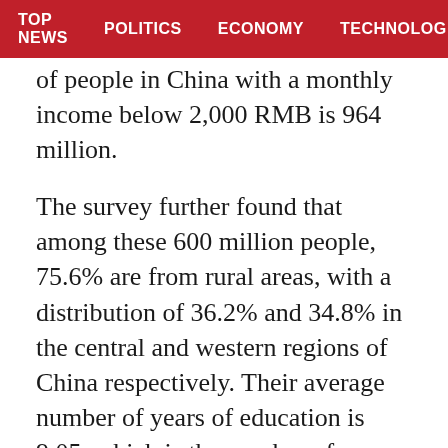TOP NEWS   POLITICS   ECONOMY   TECHNOLOG
of people in China with a monthly income below 2,000 RMB is 964 million.
The survey further found that among these 600 million people, 75.6% are from rural areas, with a distribution of 36.2% and 34.8% in the central and western regions of China respectively. Their average number of years of education is 9.05, which is the number of years of compulsory education. 43.7% have completed primary education or below, and 9.6% are illiterate. In this group, a very high 37.1% are not in the workforce, a high 18.0% are self-employed, and only 37.4% are salaried workers, which is